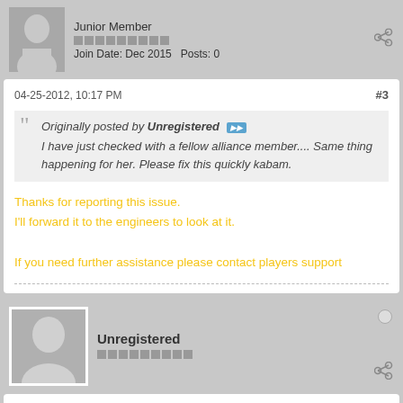Junior Member
Join Date: Dec 2015  Posts: 0
04-25-2012, 10:17 PM  #3
Originally posted by Unregistered
I have just checked with a fellow alliance member.... Same thing happening for her. Please fix this quickly kabam.
Thanks for reporting this issue.
I'll forward it to the engineers to look at it.

If you need further assistance please contact players support
Unregistered
04-28-2012, 08:59 AM  #4